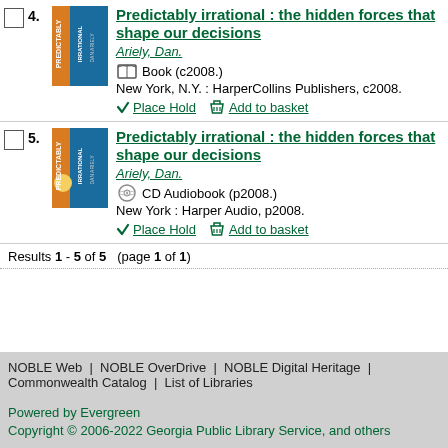4. Predictably irrational : the hidden forces that shape our decisions. Ariely, Dan. Book (c2008.) New York, N.Y. : HarperCollins Publishers, c2008. Place Hold | Add to basket
5. Predictably irrational : the hidden forces that shape our decisions. Ariely, Dan. CD Audiobook (p2008.) New York : Harper Audio, p2008. Place Hold | Add to basket
Results 1 - 5 of 5  (page 1 of 1)
NOBLE Web | NOBLE OverDrive | NOBLE Digital Heritage | Commonwealth Catalog | List of Libraries

Powered by Evergreen
Copyright © 2006-2022 Georgia Public Library Service, and others